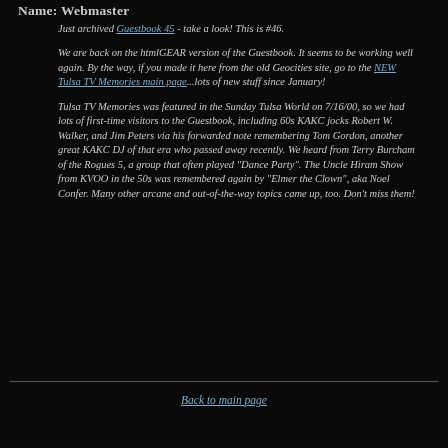Name: Webmaster
Just archived Guestbook 45 - take a look! This is #46.
We are back on the htmlGEAR version of the Guestbook. It seems to be working well again. By the way, if you made it here from the old Geocities site, go to the NEW Tulsa TV Memories main page...lots of new stuff since January!
Tulsa TV Memories was featured in the Sunday Tulsa World on 7/16/00, so we had lots of first-time visitors to the Guestbook, including 60s KAKC jocks Robert W. Walker, and Jim Peters via his forwarded note remembering Tom Gordon, another great KAKC DJ of that era who passed away recently. We heard from Terry Burcham of the Rogues 5, a group that often played "Dance Party". The Uncle Hiram Show from KVOO in the 50s was remembered again by "Elmer the Clown", aka Noel Confer. Many other arcane and out-of-the-way topics came up, too. Don't miss them!
Back to main page